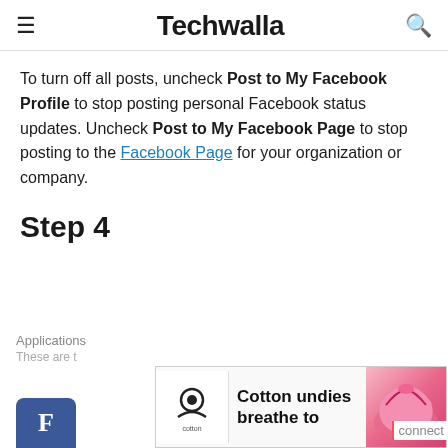Techwalla
To turn off all posts, uncheck Post to My Facebook Profile to stop posting personal Facebook status updates. Uncheck Post to My Facebook Page to stop posting to the Facebook Page for your organization or company.
Step 4
Applications
These are t
[Figure (other): Advertisement banner: Cotton logo with text 'Cotton undies breathe to' and pink underwear image]
connect